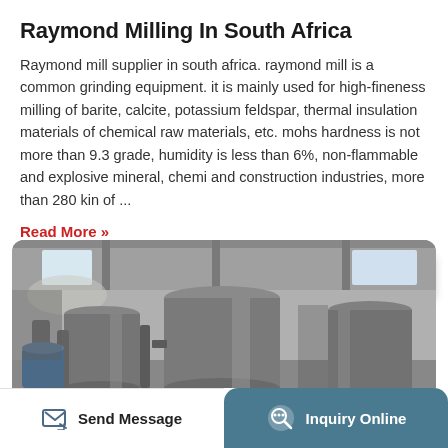Raymond Milling In South Africa
Raymond mill supplier in south africa. raymond mill is a common grinding equipment. it is mainly used for high-fineness milling of barite, calcite, potassium feldspar, thermal insulation materials of chemical raw materials, etc. mohs hardness is not more than 9.3 grade, humidity is less than 6%, non-flammable and explosive mineral, chemi and construction industries, more than 280 kin of ...
Read More »
[Figure (photo): Industrial interior photo showing large cylindrical metal tanks/vessels in a factory or milling facility, with windows visible in the background letting in light.]